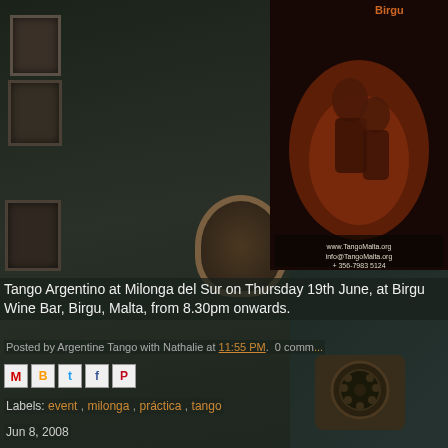[Figure (photo): Dark atmospheric interior of a bar/venue with stone walls, framed pictures, a circular gold mirror, an old wall-mounted telephone, and a tango event poster on the right side showing a couple dancing in warm red lighting. The poster includes text: www.TangoMalta.org, info@TangoMalta.org, +356-7983 5124]
Tango Argentino at Milonga del Sur on Thursday 19th June, at Birgu Wine Bar, Birgu, Malta, from 8.30pm onwards.
Posted by Argentine Tango with Nathalie at 11:55 PM.  0 comments
Labels: event , milonga , práctica , tango
Jun 8, 2008
Argentine Tango Intensive We...